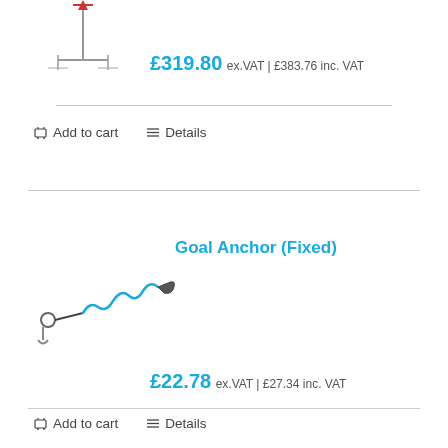[Figure (photo): Product image of a goal post anchor (top portion, cropped)]
£319.80 ex.VAT | £383.76 inc. VAT
Add to cart   Details
[Figure (photo): Product image of a Goal Anchor (Fixed) - a coiled tether/lanyard with metal clips]
Goal Anchor (Fixed)
£22.78 ex.VAT | £27.34 inc. VAT
Add to cart   Details